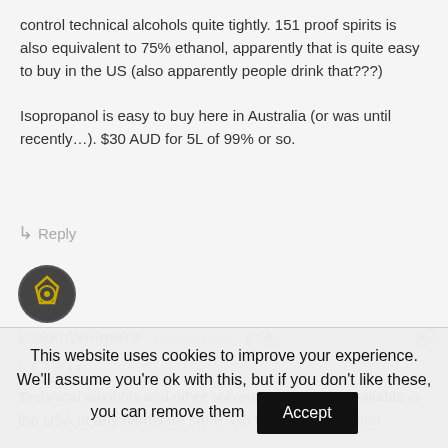control technical alcohols quite tightly. 151 proof spirits is also equivalent to 75% ethanol, apparently that is quite easy to buy in the US (also apparently people drink that???)
Isopropanol is easy to buy here in Australia (or was until recently...). $30 AUD for 5L of 99% or so.
Reply
[Figure (photo): User avatar for David Willmore - circular profile image with dark background and emblem]
David Willmore  2 years ago
JJJ
Technical alcohols and other solvents are readily available in the USA at any hardware store. Go to the paint section
This website uses cookies to improve your experience. We'll assume you're ok with this, but if you don't like these, you can remove them  Accept